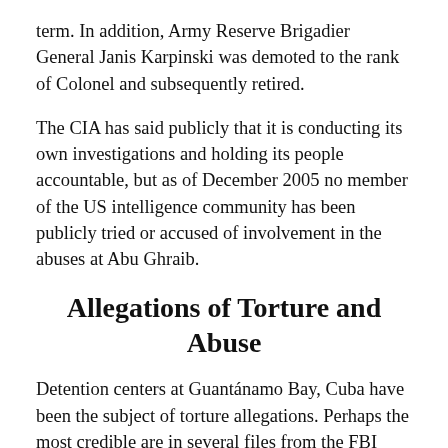term. In addition, Army Reserve Brigadier General Janis Karpinski was demoted to the rank of Colonel and subsequently retired.
The CIA has said publicly that it is conducting its own investigations and holding its people accountable, but as of December 2005 no member of the US intelligence community has been publicly tried or accused of involvement in the abuses at Abu Ghraib.
Allegations of Torture and Abuse
Detention centers at Guantánamo Bay, Cuba have been the subject of torture allegations. Perhaps the most credible are in several files from the FBI which were declassified in December 2004. A letter sent from the Counterterrorism Center of the FBI to the